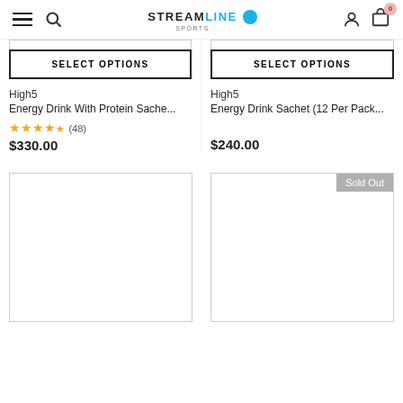Streamline Sports — Navigation bar with menu, search, logo, account, and cart (0 items)
SELECT OPTIONS
SELECT OPTIONS
High5
Energy Drink With Protein Sache...
★★★★½ (48)
$330.00
High5
Energy Drink Sachet (12 Per Pack...
$240.00
[Figure (other): Product image placeholder (empty white box with border)]
[Figure (other): Product image placeholder (empty white box with border) with Sold Out badge]